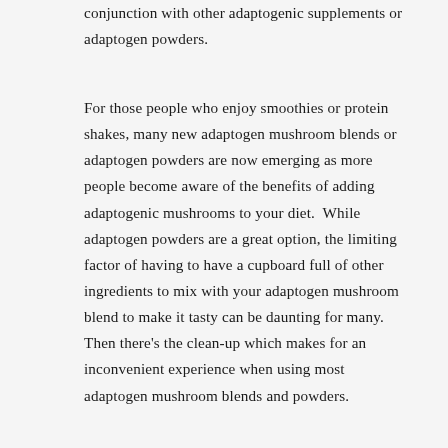conjunction with other adaptogenic supplements or adaptogen powders.
For those people who enjoy smoothies or protein shakes, many new adaptogen mushroom blends or adaptogen powders are now emerging as more people become aware of the benefits of adding adaptogenic mushrooms to your diet.  While adaptogen powders are a great option, the limiting factor of having to have a cupboard full of other ingredients to mix with your adaptogen mushroom blend to make it tasty can be daunting for many. Then there's the clean-up which makes for an inconvenient experience when using most adaptogen mushroom blends and powders.